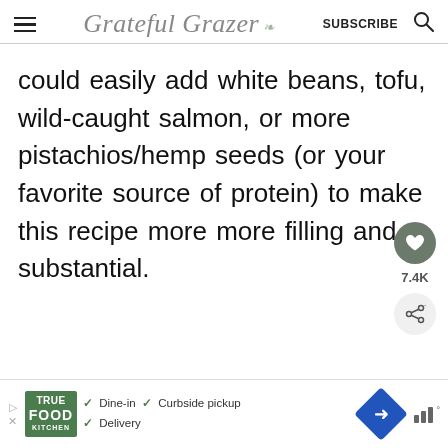Grateful Grazer — SUBSCRIBE
could easily add white beans, tofu, wild-caught salmon, or more pistachios/hemp seeds (or your favorite source of protein) to make this recipe more more filling and substantial.
[Figure (screenshot): Heart/save button with count 7.4K and share button on right sidebar]
[Figure (screenshot): Advertisement banner for True Food Kitchen with Dine-in, Curbside pickup, Delivery options]